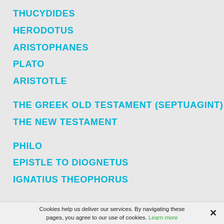THUCYDIDES
HERODOTUS
ARISTOPHANES
PLATO
ARISTOTLE
THE GREEK OLD TESTAMENT (SEPTUAGINT)
THE NEW TESTAMENT
PHILO
EPISTLE TO DIOGNETUS
IGNATIUS THEOPHORUS
Cookies help us deliver our services. By navigating these pages, you agree to our use of cookies. Learn more